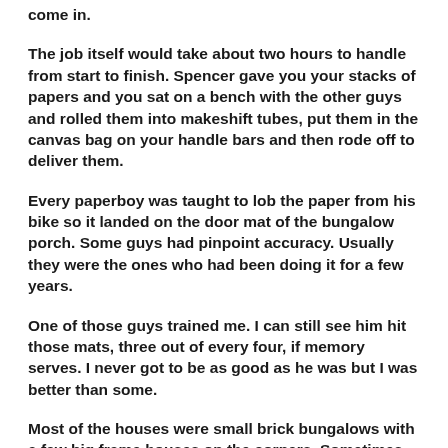come in.
The job itself would take about two hours to handle from start to finish. Spencer gave you your stacks of papers and you sat on a bench with the other guys and rolled them into makeshift tubes, put them in the canvas bag on your handle bars and then rode off to deliver them.
Every paperboy was taught to lob the paper from his bike so it landed on the door mat of the bungalow porch. Some guys had pinpoint accuracy. Usually they were the ones who had been doing it for a few years.
One of those guys trained me. I can still see him hit those mats, three out of every four, if memory serves. I never got to be as good as he was but I was better than some.
Most of the houses were small brick bungalows with a few big frame houses on the corners. Sometimes you hit the mat and sometimes not but if the paper fell off the porch, you got off your bike, put the kickstand down and put the paper on the mat.